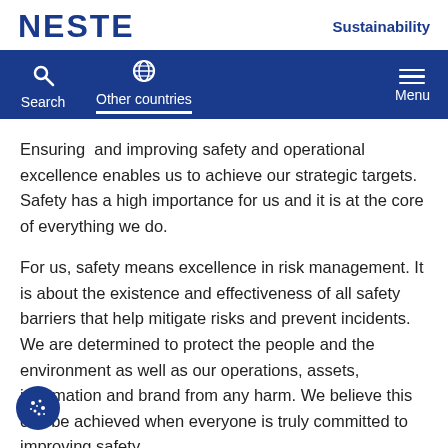NESTE  Sustainability
Search  Other countries  Menu
Ensuring  and improving safety and operational excellence enables us to achieve our strategic targets. Safety has a high importance for us and it is at the core of everything we do.
For us, safety means excellence in risk management. It is about the existence and effectiveness of all safety barriers that help mitigate risks and prevent incidents. We are determined to protect the people and the environment as well as our operations, assets, information and brand from any harm. We believe this can be achieved when everyone is truly committed to improving safety.